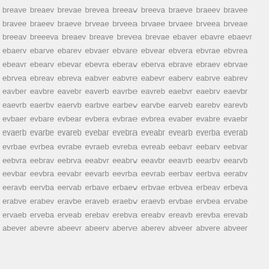breave breaev brevae brevea breeav breeva braeve braeev bravee bravee braeev braeve brveae brveea brvaee brvaee brveea brveae breeav breeeva breaev breave brevea brevae ebaver ebavre ebaevr ebaerv ebarve ebarev ebvaer ebvare ebvear ebvera ebvrae ebvrea ebeavr ebearv ebevar ebevra eberav eberva ebrave ebraev ebrvae ebrvea ebreav ebreva eabver eabvre eabevr eaberv eabrve eabrev eavber eavbre eavebr eaverb eavrbe eavreb eaebvr eaebrv eaevbr eaevrb eaerbv eaervb earbve earbev earvbe earveb earebv earevb evbaer evbare evbear evbera evbrae evbrea evaber evabre evaebr evaerb evarbe evareb evebar evebra eveabr evearb everba everab evrbae evrbea evrabe evraeb evreba evreab eebavr eebarv eebvar eebvra eebrav eebrva eeabvr eeabrv eeavbr eeavrb eearbv eearvb eevbar eevbra eevabr eevarb eevrba eevrab eerbav eerbva eerabv eeravb eervba eervab erbave erbaev erbvae erbvea erbeav erbeva erabve erabev eravbe eraveb eraebv eraevb ervbae ervbea ervabe ervaeb erveba erveab erebav erebva ereabv ereavb erevba erevab abever abevre abeevr abeerv aberve aberev abveer abvere abveer